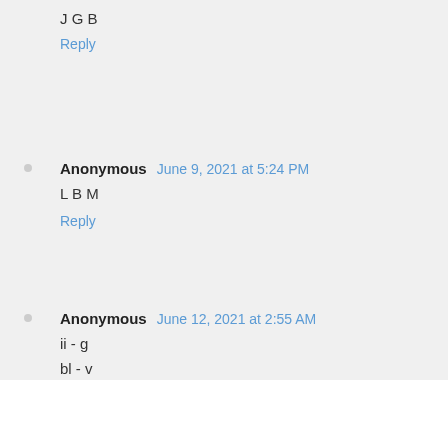J G B
Reply
Anonymous  June 9, 2021 at 5:24 PM
L B M
Reply
Anonymous  June 12, 2021 at 2:55 AM
ii - g
bl - v
ad - a
Reply